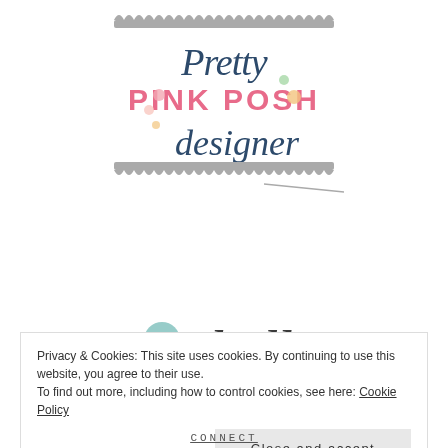[Figure (logo): Pretty Pink Posh Designer logo with scallop borders, script and pink block lettering, decorative dots]
[Figure (illustration): Small teal bird illustration next to cursive 'hello' text in dark charcoal]
Privacy & Cookies: This site uses cookies. By continuing to use this website, you agree to their use.
To find out more, including how to control cookies, see here: Cookie Policy
Close and accept
CONNECT